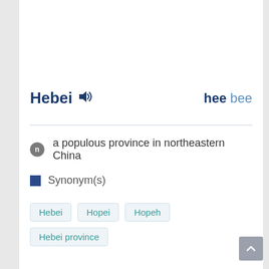Hebei
hee bee
n  a populous province in northeastern China
Synonym(s)
Hebei
Hopei
Hopeh
Hebei province